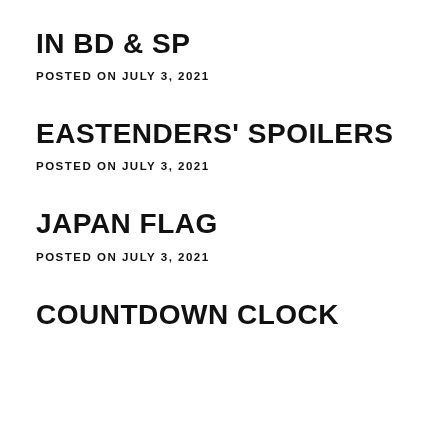IN BD & SP
POSTED ON JULY 3, 2021
EASTENDERS' SPOILERS
POSTED ON JULY 3, 2021
JAPAN FLAG
POSTED ON JULY 3, 2021
COUNTDOWN CLOCK